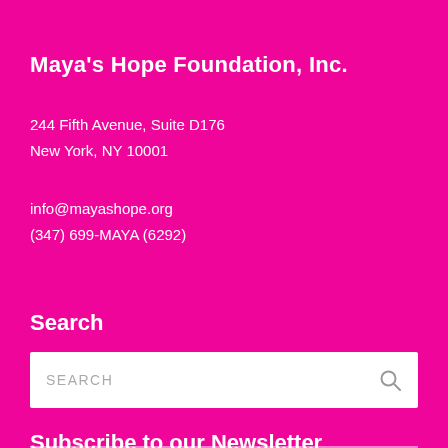Maya's Hope Foundation, Inc.
244 Fifth Avenue, Suite D176
New York, NY 10001
info@mayashope.org
(347) 699-MAYA (6292)
Search
[Figure (other): Search input field with placeholder text 'SEARCH' and a magnifying glass icon on the right]
Subscribe to our Newsletter